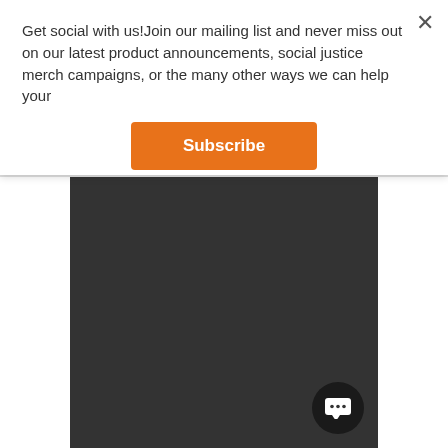Get social with us!Join our mailing list and never miss out on our latest product announcements, social justice merch campaigns, or the many other ways we can help your
[Figure (screenshot): Orange Subscribe button in a modal popup]
[Figure (screenshot): Dark gray/charcoal background area with a circular chat bubble button in the lower right]